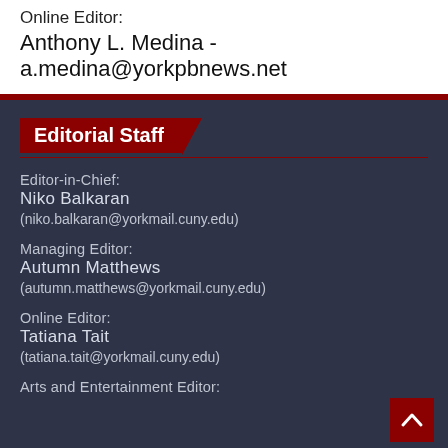Online Editor:
Anthony L. Medina -a.medina@yorkpbnews.net
Editorial Staff
Editor-in-Chief:
Niko Balkaran
(niko.balkaran@yorkmail.cuny.edu)
Managing Editor:
Autumn Matthews
(autumn.matthews@yorkmail.cuny.edu)
Online Editor:
Tatiana Tait
(tatiana.tait@yorkmail.cuny.edu)
Arts and Entertainment Editor: